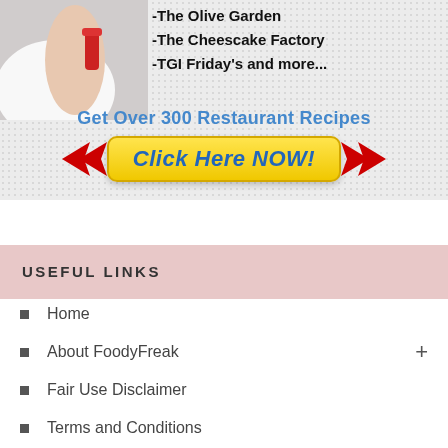[Figure (illustration): Advertisement banner showing a person's hand/arm with a red item, alongside text listing restaurant names and a yellow 'Click Here NOW!' button with red arrows]
-The Olive Garden
-The Cheescake Factory
-TGI Friday's and more...
Get Over 300 Restaurant Recipes
Click Here NOW!
USEFUL LINKS
Home
About FoodyFreak
Fair Use Disclaimer
Terms and Conditions
Social Media Disclaimer